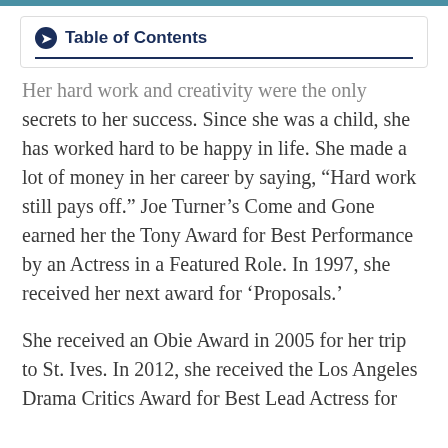Table of Contents
Her hard work and creativity were the only secrets to her success. Since she was a child, she has worked hard to be happy in life. She made a lot of money in her career by saying, “Hard work still pays off.” Joe Turner’s Come and Gone earned her the Tony Award for Best Performance by an Actress in a Featured Role. In 1997, she received her next award for ‘Proposals.’
She received an Obie Award in 2005 for her trip to St. Ives. In 2012, she received the Los Angeles Drama Critics Award for Best Lead Actress for